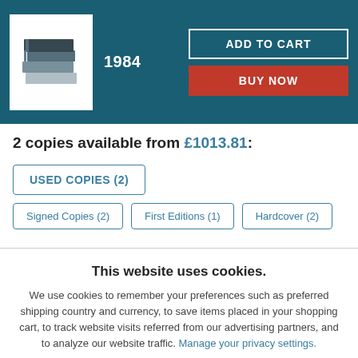[Figure (illustration): Book cover thumbnail showing stacked books icon on white background, placed in teal header bar]
1984
ADD TO CART
BUY NOW
2 copies available from £1013.81:
USED COPIES (2)
Signed Copies (2)
First Editions (1)
Hardcover (2)
This website uses cookies.
We use cookies to remember your preferences such as preferred shipping country and currency, to save items placed in your shopping cart, to track website visits referred from our advertising partners, and to analyze our website traffic. Manage your privacy settings.
AGREE AND CLOSE